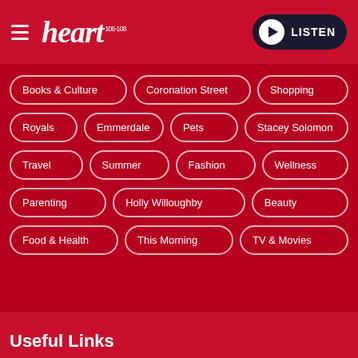[Figure (logo): Heart FM radio logo with hamburger menu and LISTEN button]
Books & Culture
Coronation Street
Shopping
Royals
Emmerdale
Pets
Stacey Solomon
Travel
Summer
Fashion
Wellness
Parenting
Holly Willoughby
Beauty
Food & Health
This Morning
TV & Movies
Useful Links